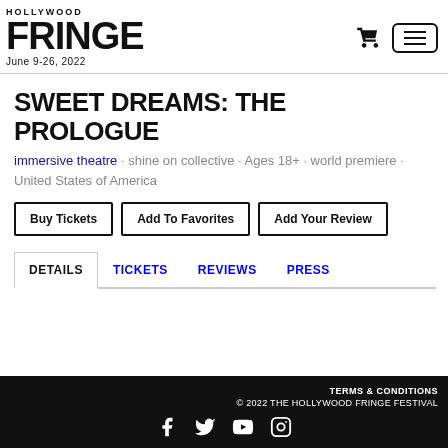HOLLYWOOD FRINGE June 9-26, 2022
SWEET DREAMS: THE PROLOGUE
immersive theatre · shine on collective · Ages 18+ · world premiere · United States of America
Buy Tickets
Add To Favorites
Add Your Review
DETAILS   TICKETS   REVIEWS   PRESS
TERMS & CONDITIONS
© 2022 THE HOLLYWOOD FRINGE FESTIVAL